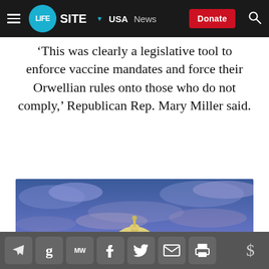LIFESITE | USA | News | Donate
‘This was clearly a legislative tool to enforce vaccine mandates and force their Orwellian rules onto those who do not comply,’ Republican Rep. Mary Miller said.
[Figure (photo): Photo of the US Capitol building dome illuminated at dusk against a dramatic blue and purple cloudy sky]
Share icons: Telegram, Gettr, MeWe, Facebook, Twitter, Email, Print | Donate